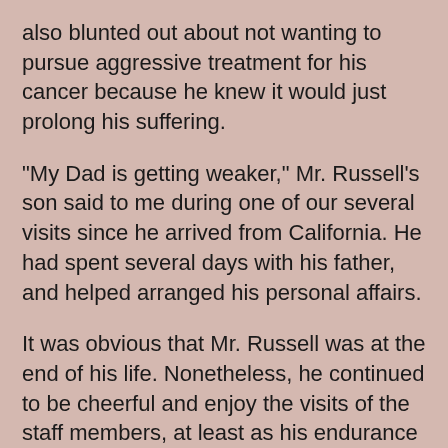also blunted out about not wanting to pursue aggressive treatment for his cancer because he knew it would just prolong his suffering.
“My Dad is getting weaker,” Mr. Russell’s son said to me during one of our several visits since he arrived from California. He had spent several days with his father, and helped arranged his personal affairs.
It was obvious that Mr. Russell was at the end of his life. Nonetheless, he continued to be cheerful and enjoy the visits of the staff members, at least as his endurance permitted.
“You all are darlings, I love you all,” Mr. Russell said, as I went to see him on a Friday, before I left for the day.
Mr. Russell’s son sat near the bed, and displayed a